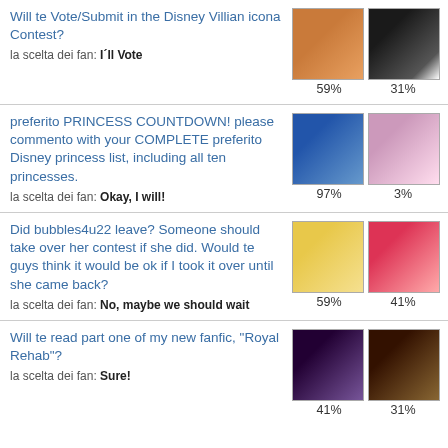Will te Vote/Submit in the Disney Villian icona Contest?
la scelta dei fan: I'll Vote
59% | 31%
preferito PRINCESS COUNTDOWN! please commento with your COMPLETE preferito Disney princess list, including all ten princesses.
la scelta dei fan: Okay, I will!
97% | 3%
Did bubbles4u22 leave? Someone should take over her contest if she did. Would te guys think it would be ok if I took it over until she came back?
la scelta dei fan: No, maybe we should wait
59% | 41%
Will te read part one of my new fanfic, "Royal Rehab"?
la scelta dei fan: Sure!
41% | 31%